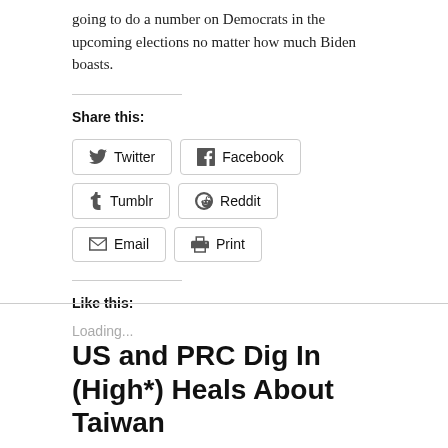going to do a number on Democrats in the upcoming elections no matter how much Biden boasts.
Share this:
Twitter  Facebook  Tumblr  Reddit  Email  Print
Like this:
Loading...
US and PRC Dig In (High*) Heals About Taiwan